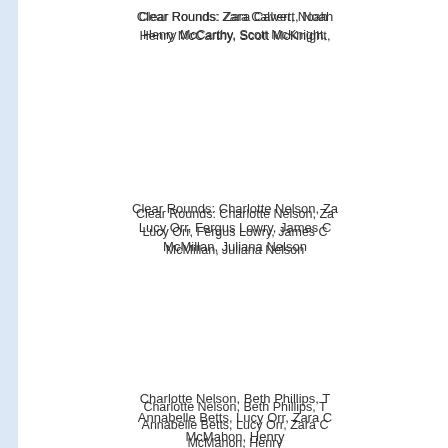Clear Rounds: Zara Calvert, Noah [truncated], Henry McCarthy, Scott McKnight, [truncated]
Clear Rounds: Charlotte Nelson, Za[truncated], Lucy Orr, Fergus Lowry, James C[truncated], McMillan, Juliana Nelson[truncated]
Charlotte Nelson, Beth Phillips, T[truncated], Annabelle Betts, Lucy Orr, Zara C[truncated], McMahon, Henry [truncated]
Amber Thompson, Zoe Daniel, Ha[truncated], Rachel Sands, B[truncated]
Jumps A[truncated]
1st Sophie Hanna (Iveagh) on Orec[truncated], Megan Nelson (EDown) on Murph[truncated], Thompson (M Antrim) Ballylurgan[truncated]
1st Bonnie Morton on Ice King 2nd[truncated]